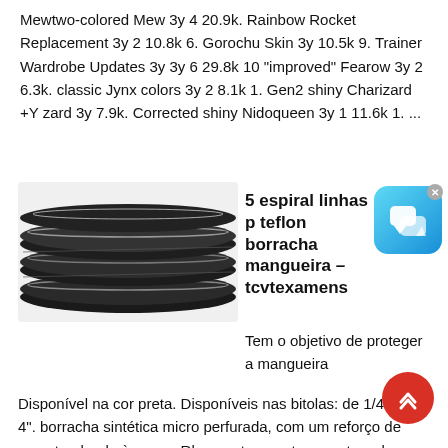Mewtwo-colored Mew 3y 4 20.9k. Rainbow Rocket Replacement 3y 2 10.8k 6. Gorochu Skin 3y 10.5k 9. Trainer Wardrobe Updates 3y 3y 6 29.8k 10 "improved" Fearow 3y 2 6.3k. classic Jynx colors 3y 2 8.1k 1. Gen2 shiny Charizard +Y zard 3y 7.9k. Corrected shiny Nidoqueen 3y 1 11.6k 1. ...
[Figure (photo): Photo of black rubber spiral hose/tubing coiled]
5 espiral linhas p teflon borracha mangueira - tcvtexamens
Tem o objetivo de proteger a mangueira
Disponível na cor preta. Disponíveis nas bitolas: de 1/4 até 4". borracha sintética micro perfurada, com um reforço de aço atendendo à norma Rl, suporta urna temperatura de trabalho de -55 oc a 135 oc. Já a mangueira R14 é composta por um tubo interno em teflon e cobertura em aço inox, suportando uma